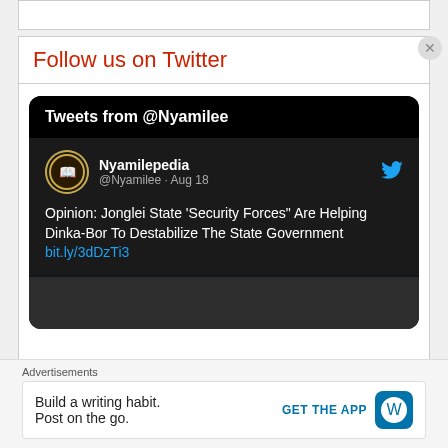Follow us on Twitter
[Figure (screenshot): Twitter widget screenshot showing 'Tweets from @Nyamilee' with a tweet from Nyamilepedia (@Nyamilee · Aug 18): 'Opinion: Jonglei State 'Security Forces" Are Helping Dinka-Bor To Destabilize The State Government bit.ly/3dDzTi3']
Advertisements
Build a writing habit. Post on the go. GET THE APP